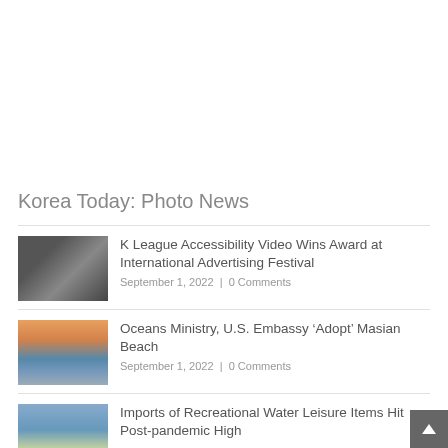Korea Today: Photo News
K League Accessibility Video Wins Award at International Advertising Festival
September 1, 2022 | 0 Comments
Oceans Ministry, U.S. Embassy ‘Adopt’ Masian Beach
September 1, 2022 | 0 Comments
Imports of Recreational Water Leisure Items Hit Post-pandemic High